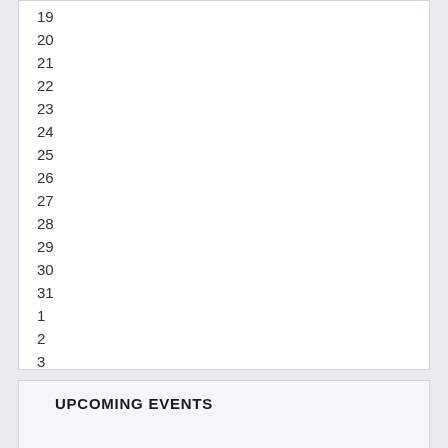19
20
21
22
23
24
25
26
27
28
29
30
31
1
2
3
4
UPCOMING EVENTS